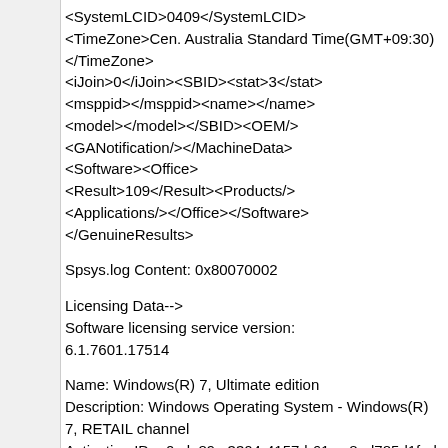<SystemLCID>0409</SystemLCID><TimeZone>Cen. Australia Standard Time(GMT+09:30)</TimeZone><iJoin>0</iJoin><SBID><stat>3</stat><msppid></msppid><name></name><model></model></SBID><OEM/><GANotification/></MachineData><Software><Office><Result>109</Result><Products/><Applications/></Office></Software></GenuineResults>
Spsys.log Content: 0x80070002
Licensing Data-->
Software licensing service version: 6.1.7601.17514
Name: Windows(R) 7, Ultimate edition
Description: Windows Operating System - Windows(R) 7, RETAIL channel
Activation ID: a0cde89c-3304-4157-b61c-c8ad785d1fad
Application ID: 55c92734-d682-4d71-983e-d6ec3f16059f
Extended PID: 00426-00172-069-672593-00-3081-7600.0000-2102014
Installation ID: